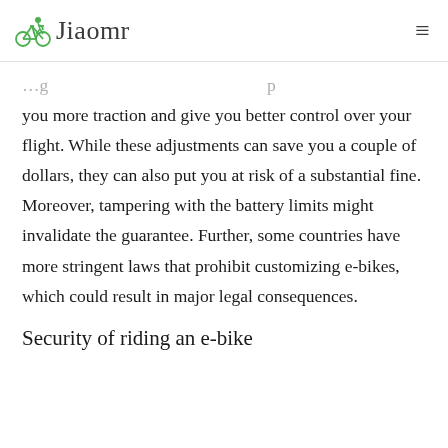Jiaomr
you more traction and give you better control over your flight. While these adjustments can save you a couple of dollars, they can also put you at risk of a substantial fine. Moreover, tampering with the battery limits might invalidate the guarantee. Further, some countries have more stringent laws that prohibit customizing e-bikes, which could result in major legal consequences.
Security of riding an e-bike